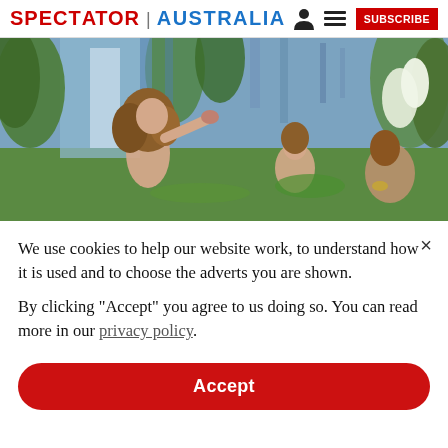SPECTATOR | AUSTRALIA
[Figure (illustration): Impressionist painting of nude bathers in a lush outdoor setting with green trees and a waterfall background. Women with brown hair in a natural scene.]
We use cookies to help our website work, to understand how it is used and to choose the adverts you are shown.
By clicking "Accept" you agree to us doing so. You can read more in our privacy policy.
Accept